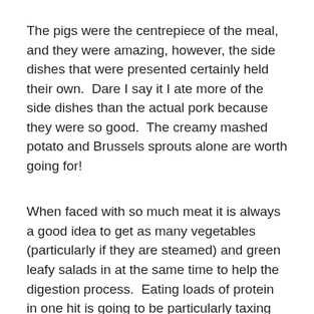The pigs were the centrepiece of the meal, and they were amazing, however, the side dishes that were presented certainly held their own.  Dare I say it I ate more of the side dishes than the actual pork because they were so good.  The creamy mashed potato and Brussels sprouts alone are worth going for!
When faced with so much meat it is always a good idea to get as many vegetables (particularly if they are steamed) and green leafy salads in at the same time to help the digestion process.  Eating loads of protein in one hit is going to be particularly taxing on the digestive system so it's a wise idea not to drink too much water with the meal.  However, the great news is that accompanying your meat-